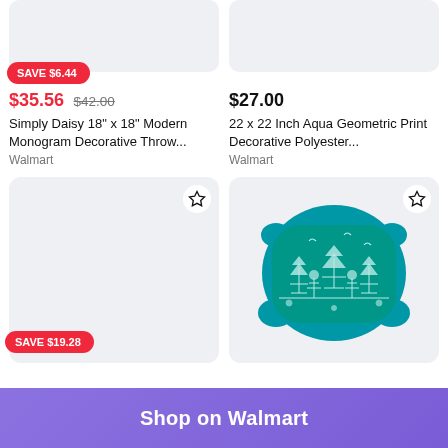[Figure (photo): Product image placeholder (light gray rectangle) for Simply Daisy throw pillow, top cropped]
[Figure (photo): Product image placeholder (light gray rectangle) for 22x22 Aqua Geometric pillow, top cropped]
SAVE $6.44
$35.56  $42.00
Simply Daisy 18" x 18" Modern Monogram Decorative Throw...
Walmart
$27.00
22 x 22 Inch Aqua Geometric Print Decorative Polyester...
Walmart
[Figure (photo): Product image placeholder (light gray rectangle) for second product bottom row left]
SAVE $19.28
[Figure (photo): Teal decorative throw pillow with white pagoda/toile pattern]
Shop on Walmart